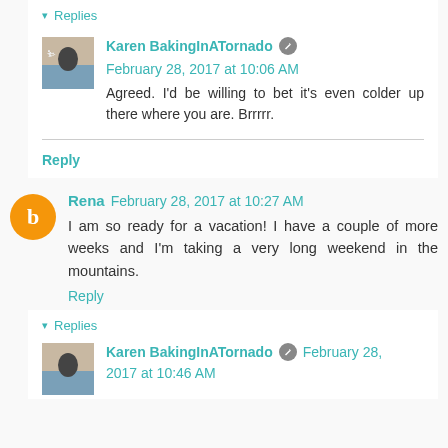▾ Replies
Karen BakingInATornado  February 28, 2017 at 10:06 AM
Agreed. I'd be willing to bet it's even colder up there where you are. Brrrrr.
Reply
Rena  February 28, 2017 at 10:27 AM
I am so ready for a vacation! I have a couple of more weeks and I'm taking a very long weekend in the mountains.
Reply
▾ Replies
Karen BakingInATornado  February 28, 2017 at 10:46 AM